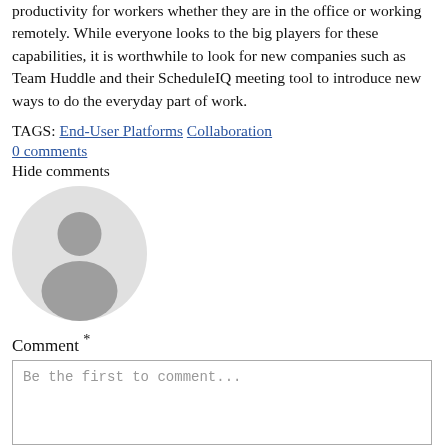productivity for workers whether they are in the office or working remotely. While everyone looks to the big players for these capabilities, it is worthwhile to look for new companies such as Team Huddle and their ScheduleIQ meeting tool to introduce new ways to do the everyday part of work.
TAGS: End-User Platforms Collaboration
0 comments
Hide comments
[Figure (illustration): Default user avatar placeholder: circular grey silhouette of a person on light grey background]
Comment *
Be the first to comment...
More information about text formats
Text format  Comments